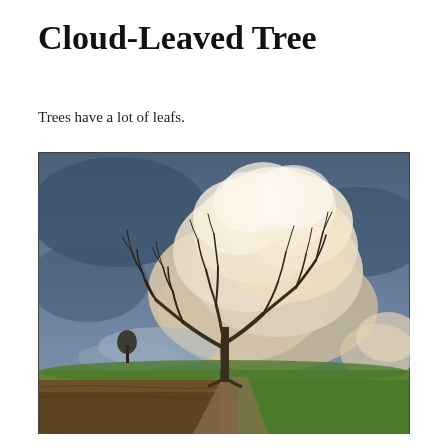Cloud-Leaved Tree
Trees have a lot of leafs.
[Figure (photo): A bare-branched tree standing in a field with dramatic large cumulus clouds billowing behind it, resembling a leafy canopy. The sky is blue-grey with the clouds lit warmly. Green and brown field ground visible at the bottom.]